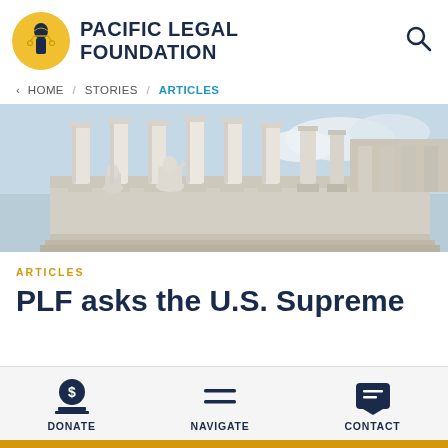PACIFIC LEGAL FOUNDATION
< HOME / STORIES / ARTICLES
[Figure (photo): Exterior of the U.S. Supreme Court building showing tall marble columns and a classical statue of a seated figure, with a partly cloudy sky in the background.]
ARTICLES
PLF asks the U.S. Supreme
DONATE  NAVIGATE  CONTACT